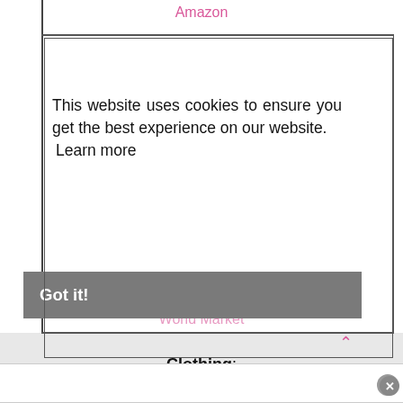Amazon
This website uses cookies to ensure you get the best experience on our website. Learn more
Got it!
World Market
Clothing:
Express
J.Crew Factory
LOFT
Nordstrom
Old Navy
Target
TJ Maxx